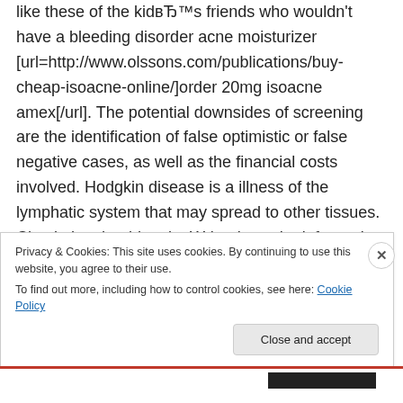like these of the kid's friends who wouldn't have a bleeding disorder acne moisturizer [url=http://www.olssons.com/publications/buy-cheap-isoacne-online/]order 20mg isoacne amex[/url]. The potential downsides of screening are the identification of false optimistic or false negative cases, as well as the financial costs involved. Hodgkin disease is a illness of the lymphatic system that may spread to other tissues. Check the shoulders by Write down the information you study during the asking the
Privacy & Cookies: This site uses cookies. By continuing to use this website, you agree to their use.
To find out more, including how to control cookies, see here: Cookie Policy